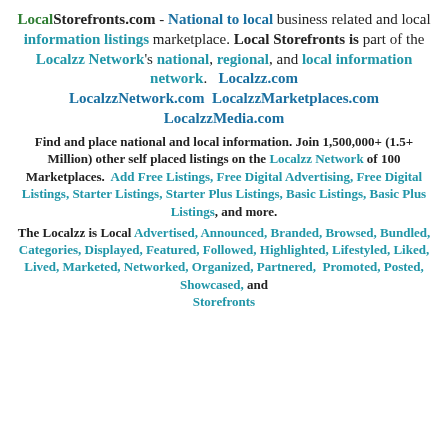LocalStorefronts.com - National to local business related and local information listings marketplace. Local Storefronts is part of the Localzz Network's national, regional, and local information network.   Localzz.com  LocalzzNetwork.com  LocalzzMarketplaces.com  LocalzzMedia.com
Find and place national and local information. Join 1,500,000+ (1.5+ Million) other self placed listings on the Localzz Network of 100 Marketplaces.  Add Free Listings, Free Digital Advertising, Free Digital Listings, Starter Listings, Starter Plus Listings, Basic Listings, Basic Plus Listings, and more.
The Localzz is Local Advertised, Announced, Branded, Browsed, Bundled, Categories, Displayed, Featured, Followed, Highlighted, Lifestyled, Liked, Lived, Marketed, Networked, Organized, Partnered,  Promoted, Posted, Showcased, and Storefronts